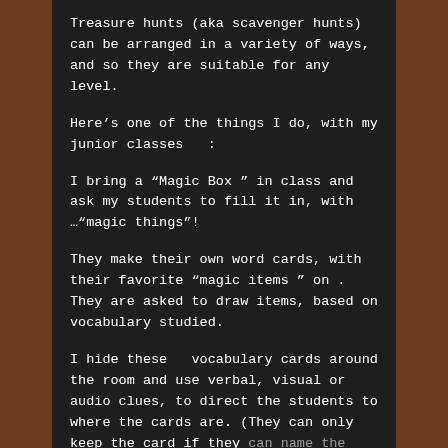Treasure hunts (aka scavenger hunts) can be arranged in a variety of ways, and so they are suitable for any level.
Here's one of the things I do, with my junior classes  :
I bring a “Magic Box ” in class and ask my students to fill it in, with …“magic things”!
They make their own word cards, with their favorite “magic items ” on . They are asked to draw items, based on vocabulary studied.
I hide these  vocabulary cards around the room and use verbal, visual or audio clues, to direct the students to where the cards are. (They can only keep the card if they can name the item, or pronounce/spell...